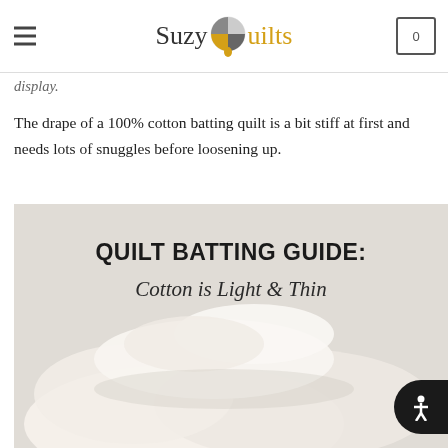Suzy Quilts
display.
The drape of a 100% cotton batting quilt is a bit stiff at first and needs lots of snuggles before loosening up.
[Figure (photo): Quilt Batting Guide image with title text overlaid: QUILT BATTING GUIDE: Cotton is Light & Thin, with soft white cotton batting material shown below]
QUILT BATTING GUIDE: Cotton is Light & Thin